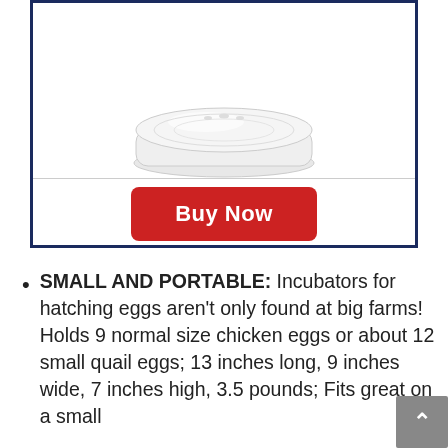[Figure (photo): Egg incubator product photo — white oval/rectangular plastic incubator with transparent lid, shown from slightly above]
Buy Now
SMALL AND PORTABLE: Incubators for hatching eggs aren't only found at big farms! Holds 9 normal size chicken eggs or about 12 small quail eggs; 13 inches long, 9 inches wide, 7 inches high, 3.5 pounds; Fits great on a small